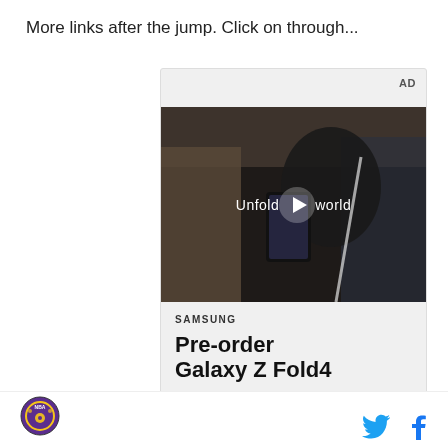More links after the jump.  Click on through...
[Figure (screenshot): Samsung advertisement showing a video player with a woman holding a foldable phone in a car, text 'Unfold your world' with play button, Samsung branding below, and 'Pre-order Galaxy Z Fold4' text]
Footer with circular logo on left and Twitter and Facebook social icons on right